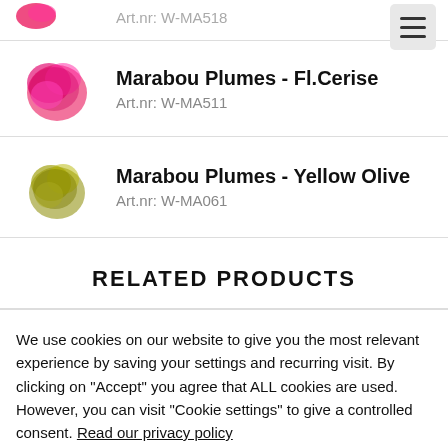Art.nr: W-MA518
[Figure (photo): Pink/magenta fluffy feather puff (Marabou Plumes - Fl.Cerise)]
Marabou Plumes - Fl.Cerise
Art.nr: W-MA511
[Figure (photo): Olive/yellow-green fluffy feather puff (Marabou Plumes - Yellow Olive)]
Marabou Plumes - Yellow Olive
Art.nr: W-MA061
RELATED PRODUCTS
We use cookies on our website to give you the most relevant experience by saving your settings and recurring visit. By clicking on "Accept" you agree that ALL cookies are used. However, you can visit "Cookie settings" to give a controlled consent. Read our privacy policy
Settings
Accept